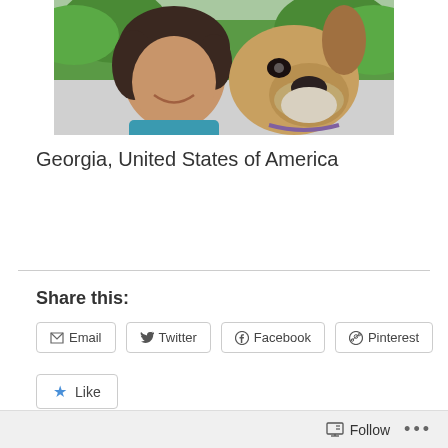[Figure (photo): A woman with curly dark hair smiling cheek-to-cheek with a boxer dog outdoors with green trees in the background.]
Georgia, United States of America
Share this:
Email  Twitter  Facebook  Pinterest
Like
Be the first to like this.
Follow  ...